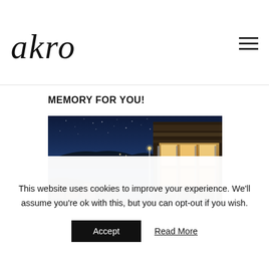akro
MEMORY FOR YOU!
[Figure (photo): Night-time photo of a waterside restaurant or venue with starry blue sky, calm lake or sea water, rocky shoreline with stacked stone elements in foreground, and a warmly lit building structure on the right side]
This website uses cookies to improve your experience. We'll assume you're ok with this, but you can opt-out if you wish.
Accept  Read More